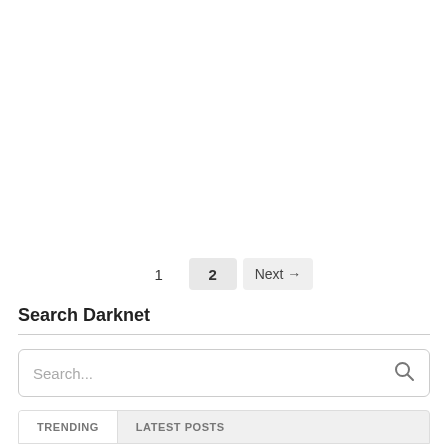1  2  Next →
Search Darknet
Search...
TRENDING  LATEST POSTS